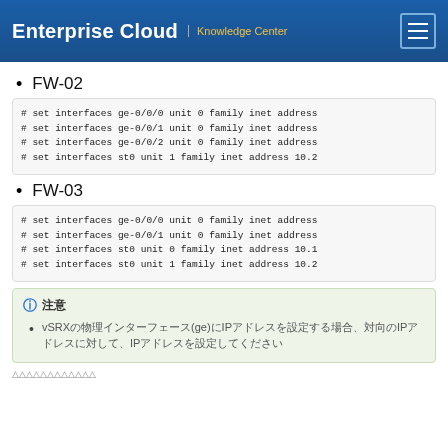Enterprise Cloud | Knowledge Center
FW-02
# set interfaces ge-0/0/0 unit 0 family inet address
# set interfaces ge-0/0/1 unit 0 family inet address
# set interfaces ge-0/0/2 unit 0 family inet address
# set interfaces st0 unit 1 family inet address 10.2
FW-03
# set interfaces ge-0/0/0 unit 0 family inet address
# set interfaces ge-0/0/1 unit 0 family inet address
# set interfaces st0 unit 0 family inet address 10.1
# set interfaces st0 unit 1 family inet address 10.2
注意
vSRXの物理インターフェース(ge)にIPアドレスを設定する場合、対向のIPアドレスに対して、IPアドレスを設定してください
△△△△△△△△△△△△